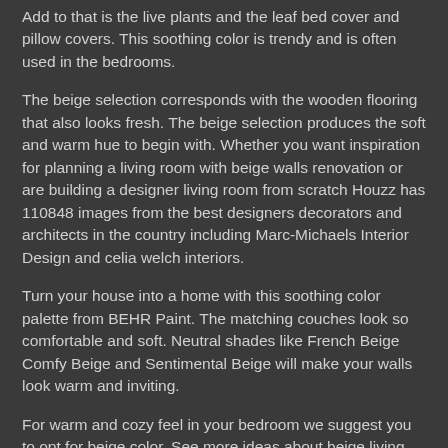Add to that is the live plants and the leaf bed cover and pillow covers. This soothing color is trendy and is often used in the bedrooms.
The beige selection corresponds with the wooden flooring that also looks fresh. The beige selection produces the soft and warm hue to begin with. Whether you want inspiration for planning a living room with beige walls renovation or are building a designer living room from scratch Houzz has 110848 images from the best designers decorators and architects in the country including Marc-Michaels Interior Design and celia welch interiors.
Turn your house into a home with this soothing color palette from BEHR Paint. The matching couches look so comfortable and soft. Neutral shades like French Beige Comfy Beige and Sentimental Beige will make your walls look warm and inviting.
For warm and cozy feel in your bedroom we suggest you to opt for beige color. See more ideas about beige living rooms living room home decor. Apr 20 2019 - Explore Carol Rock Makeups board Beige walls followed by 457 people on